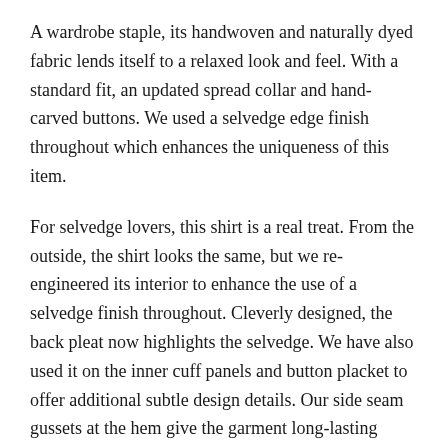A wardrobe staple, its handwoven and naturally dyed fabric lends itself to a relaxed look and feel. With a standard fit, an updated spread collar and hand-carved buttons. We used a selvedge edge finish throughout which enhances the uniqueness of this item.
For selvedge lovers, this shirt is a real treat. From the outside, the shirt looks the same, but we re-engineered its interior to enhance the use of a selvedge finish throughout. Cleverly designed, the back pleat now highlights the selvedge. We have also used it on the inner cuff panels and button placket to offer additional subtle design details. Our side seam gussets at the hem give the garment long-lasting durability. The subtle selvedge use and considered bone button hardware enhances the overall style.
Learn more about its special selvedge features here.